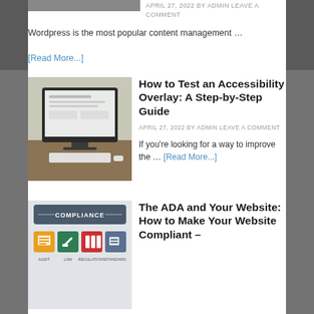[Figure (photo): Partial photo at top, blurred city/people background, cropped]
APRIL 27, 2022 BY ADMIN LEAVE A COMMENT
Wordpress is the most popular content management …
[Read More...]
[Figure (photo): iMac desktop computer on a desk showing a website design, office background]
How to Test an Accessibility Overlay: A Step-by-Step Guide
APRIL 27, 2022 BY ADMIN LEAVE A COMMENT
If you're looking for a way to improve the … [Read More...]
[Figure (infographic): Compliance graphic with colorful icon tiles: document, law/gavel, binders, checklist — labeled COMPLIANCE at top]
The ADA and Your Website: How to Make Your Website Compliant –